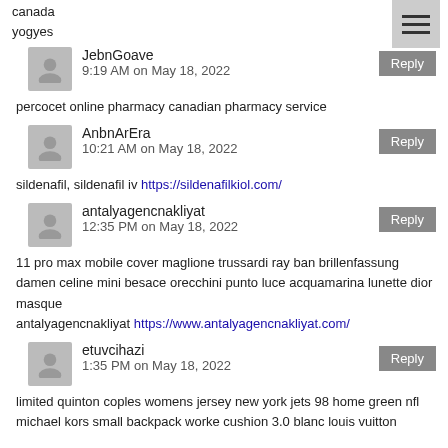canada
yogyes
JebnGoave
9:19 AM on May 18, 2022
percocet online pharmacy canadian pharmacy service
AnbnArEra
10:21 AM on May 18, 2022
sildenafil, sildenafil iv https://sildenafilkiol.com/
antalyagencnakliyat
12:35 PM on May 18, 2022
11 pro max mobile cover maglione trussardi ray ban brillenfassung damen celine mini besace orecchini punto luce acquamarina lunette dior masque
antalyagencnakliyat https://www.antalyagencnakliyat.com/
etuvcihazi
1:35 PM on May 18, 2022
limited quinton coples womens jersey new york jets 98 home green nfl michael kors small backpack worke cushion 3.0 blanc louis vuitton